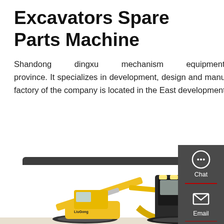Excavators Spare Parts Machine
Shandong dingxu mechanism equipment manufacture co., ltd. is located in, Dezhou city, Shandong province. It specializes in development, design and manufacture of excavator buckets and related accessories. The factory of the company is located in the East development zone of Jingxian Country, Hengshui city.
Get a Quote
[Figure (photo): Yellow LiuGong excavator and a black excavator cab at the bottom of the page]